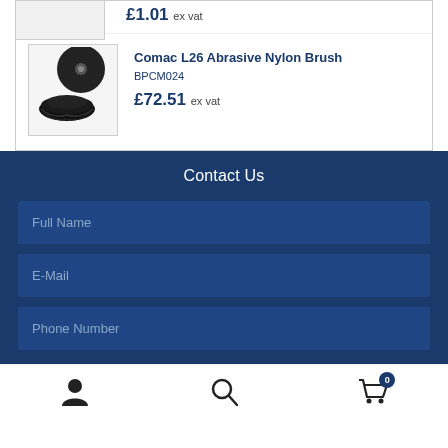£1.01 ex vat
[Figure (photo): Product image of Comac L26 Abrasive Nylon Brush - two black circular brush pads]
Comac L26 Abrasive Nylon Brush
BPCM024
£72.51 ex vat
Contact Us
Full Name
E-Mail
Phone Number